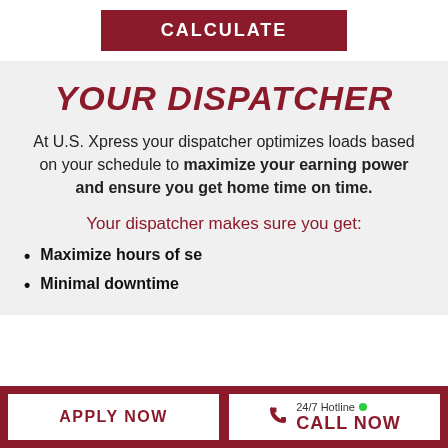CALCULATE
YOUR DISPATCHER
At U.S. Xpress your dispatcher optimizes loads based on your schedule to maximize your earning power and ensure you get home time on time.
Your dispatcher makes sure you get:
Maximize hours of service
Minimal downtime
[Figure (illustration): Chat bubble overlay with text 'Chat with our Recruiting Assistant' and avatar of a woman in red]
APPLY NOW
24/7 Hotline CALL NOW